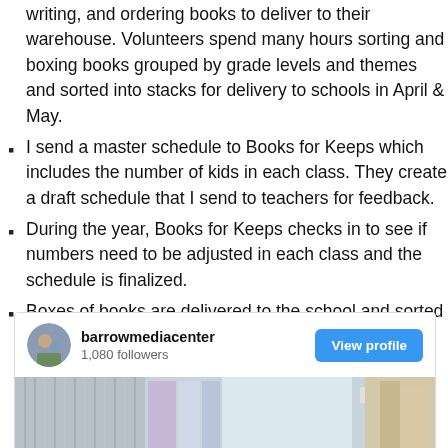writing, and ordering books to deliver to their warehouse. Volunteers spend many hours sorting and boxing books grouped by grade levels and themes and sorted into stacks for delivery to schools in April & May.
I send a master schedule to Books for Keeps which includes the number of kids in each class. They create a draft schedule that I send to teachers for feedback.
During the year, Books for Keeps checks in to see if numbers need to be adjusted in each class and the schedule is finalized.
Boxes of books are delivered to the school and sorted into areas for quick distribution to tables.
[Figure (screenshot): Instagram profile embed for barrowmediacenter with 1,080 followers and a View profile button, with a partial image of books below]